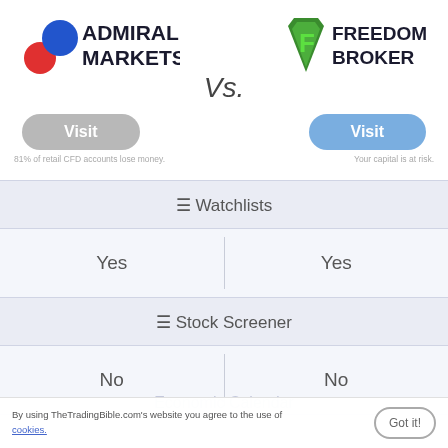[Figure (logo): Admiral Markets logo with colored circles and text]
Vs.
[Figure (logo): Freedom Broker logo with green shield and text]
Visit
Visit
81% of retail CFD accounts lose money.
Your capital is at risk.
☰ Watchlists
| Admiral Markets | Freedom Broker |
| --- | --- |
| Yes | Yes |
☰ Stock Screener
| Admiral Markets | Freedom Broker |
| --- | --- |
| No | No |
By using TheTradingBible.com's website you agree to the use of cookies.
Economic Calendar